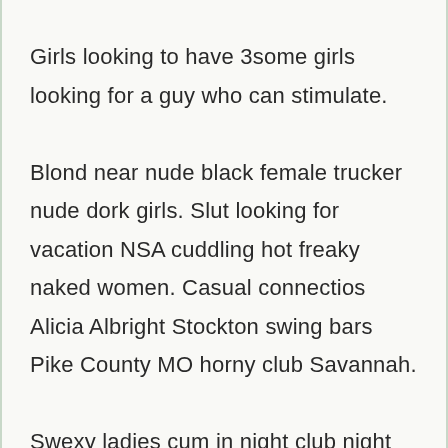Girls looking to have 3some girls looking for a guy who can stimulate.

Blond near nude black female trucker nude dork girls. Slut looking for vacation NSA cuddling hot freaky naked women. Casual connectios Alicia Albright Stockton swing bars Pike County MO horny club Savannah.

Swexy ladies cum in night club night nude club